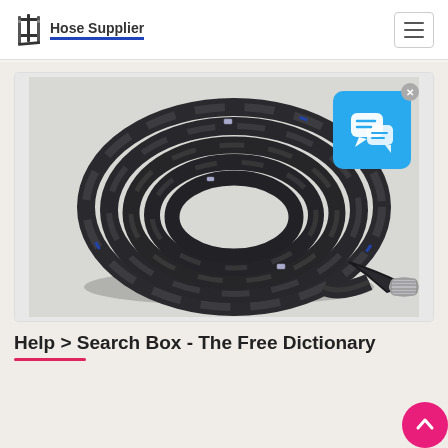Hose Supplier
[Figure (photo): Coiled black rubber hose (fire hose or pressure hose) with metal fitting/coupling visible at one end, laid on a white background.]
Help > Search Box - The Free Dictionary